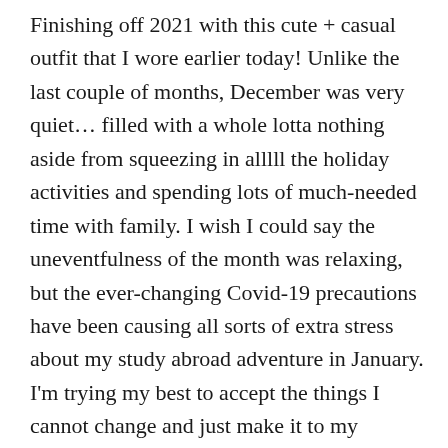Finishing off 2021 with this cute + casual outfit that I wore earlier today! Unlike the last couple of months, December was very quiet… filled with a whole lotta nothing aside from squeezing in alllll the holiday activities and spending lots of much-needed time with family. I wish I could say the uneventfulness of the month was relaxing, but the ever-changing Covid-19 precautions have been causing all sorts of extra stress about my study abroad adventure in January. I'm trying my best to accept the things I cannot change and just make it to my departure date! T-minus five days now [insert shocked emoji here]. Continue reading